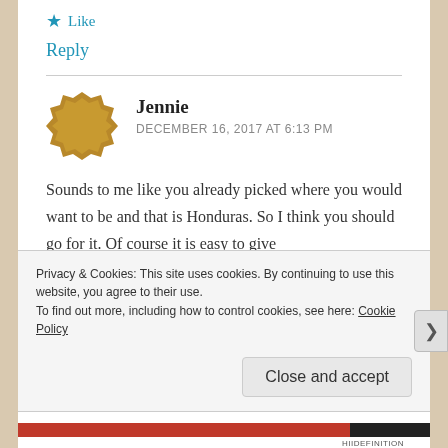Like
Reply
Jennie
DECEMBER 16, 2017 AT 6:13 PM
Sounds to me like you already picked where you would want to be and that is Honduras. So I think you should go for it. Of course it is easy to give
Privacy & Cookies: This site uses cookies. By continuing to use this website, you agree to their use.
To find out more, including how to control cookies, see here: Cookie Policy
Close and accept